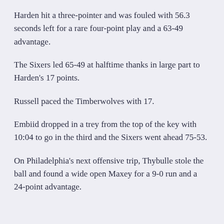Harden hit a three-pointer and was fouled with 56.3 seconds left for a rare four-point play and a 63-49 advantage.
The Sixers led 65-49 at halftime thanks in large part to Harden's 17 points.
Russell paced the Timberwolves with 17.
Embiid dropped in a trey from the top of the key with 10:04 to go in the third and the Sixers went ahead 75-53.
On Philadelphia's next offensive trip, Thybulle stole the ball and found a wide open Maxey for a 9-0 run and a 24-point advantage.